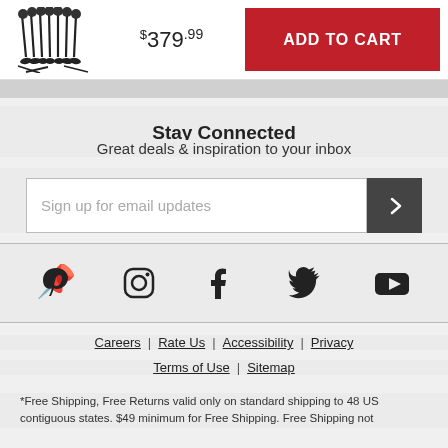[Figure (photo): Golf club heads product image (multiple club heads shown)]
$379.99
ADD TO CART
Stay Connected
Great deals & inspiration to your inbox
Sign up for email updates
[Figure (other): Social media icons row: Pinterest, Instagram, Facebook, Twitter, YouTube]
Careers | Rate Us | Accessibility | Privacy
Terms of Use | Sitemap
*Free Shipping, Free Returns valid only on standard shipping to 48 US contiguous states. $49 minimum for Free Shipping. Free Shipping not